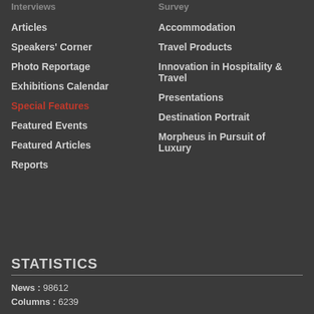Articles
Accommodation
Speakers' Corner
Travel Products
Photo Reportage
Innovation in Hospitality & Travel
Exhibitions Calendar
Presentations
Special Features
Destination Portrait
Featured Events
Morpheus in Pursuit of Luxury
Featured Articles
Reports
STATISTICS
News : 98612
Columns : 6239